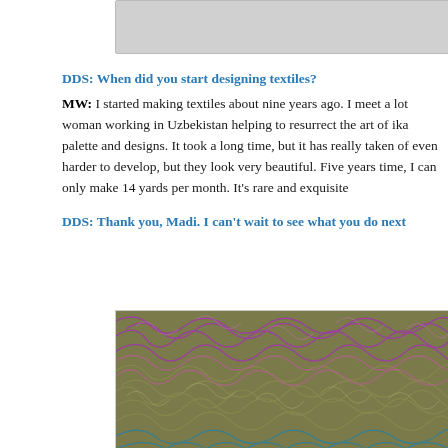[Figure (photo): Partial gray image/photo at top of page]
DDS: When did you start designing textiles?
MW: I started making textiles about nine years ago. I meet a lot of woman working in Uzbekistan helping to resurrect the art of ika palette and designs. It took a long time, but it has really taken of even harder to develop, but they look very beautiful. Five years time, I can only make 14 yards per month. It's rare and exquisite
DDS: Thank you, Madi. I can't wait to see what you do next
[Figure (photo): Close-up photo of curly textured textile/fabric in purple, olive/tan, and blue colors]